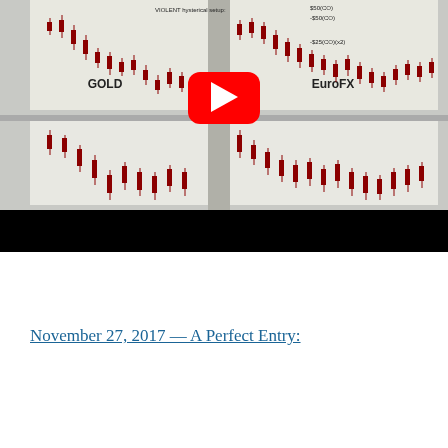[Figure (screenshot): YouTube video thumbnail showing trading charts for GOLD and EuroFX with candlestick price data. Overlay text visible: 'VIOLENT hysterical setup:', '$50(CO)', '-$50(CO)', '-$25(CO)(x2)'. A YouTube play button icon is centered over the thumbnail. Below the charts is a black bar (video player controls area).]
November 27, 2017 — A Perfect Entry: